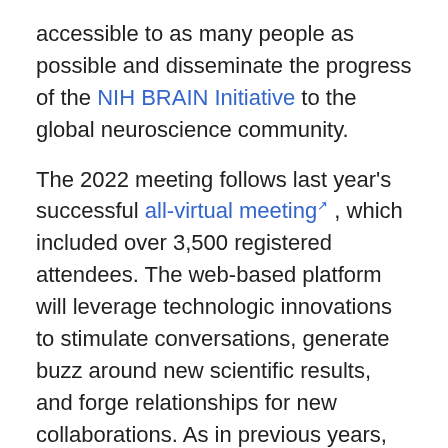accessible to as many people as possible and disseminate the progress of the NIH BRAIN Initiative to the global neuroscience community.
The 2022 meeting follows last year's successful all-virtual meeting, which included over 3,500 registered attendees. The web-based platform will leverage technologic innovations to stimulate conversations, generate buzz around new scientific results, and forge relationships for new collaborations. As in previous years, the 2022 meeting is open to the public and free to attend, so please register here, and join over 2,300 participants (and counting!) who have already signed up.
This year's meeting program includes:
Plenary talks